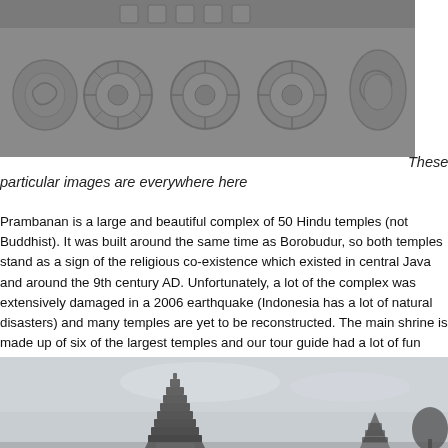[Figure (photo): Close-up photograph of stone carvings/relief decorations on a temple wall, showing circular floral rosette patterns and intricate relief work in gray stone]
These particular images are everywhere here
Prambanan is a large and beautiful complex of 50 Hindu temples (not Buddhist). It was built around the same time as Borobudur, so both temples stand as a sign of the religious co-existence which existed in central Java and around the 9th century AD. Unfortunately, a lot of the complex was extensively damaged in a 2006 earthquake (Indonesia has a lot of natural disasters) and many temples are yet to be reconstructed. The main shrine is made up of six of the largest temples and our tour guide had a lot of fun telling us the Hindu stories of Brahma which are depicted in carvings around the temples. Both Prambanan and Borobudur are well worth a visit and are among the most impressive religious structures we've seen since leaving the Middle East.
[Figure (photo): Photograph of a tall pointed Hindu temple tower (shikhara) at Prambanan complex against an overcast sky, with other temple structures visible in the background]